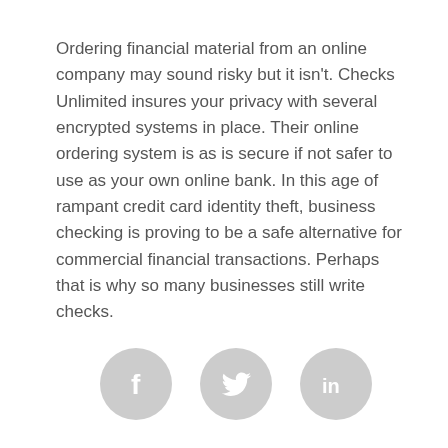Ordering financial material from an online company may sound risky but it isn't. Checks Unlimited insures your privacy with several encrypted systems in place. Their online ordering system is as is secure if not safer to use as your own online bank. In this age of rampant credit card identity theft, business checking is proving to be a safe alternative for commercial financial transactions. Perhaps that is why so many businesses still write checks.
[Figure (illustration): Three social media share buttons: Facebook (f), Twitter (bird), LinkedIn (in), all in light grey circles]